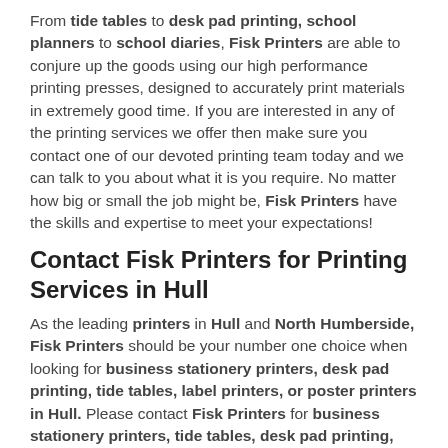From tide tables to desk pad printing, school planners to school diaries, Fisk Printers are able to conjure up the goods using our high performance printing presses, designed to accurately print materials in extremely good time. If you are interested in any of the printing services we offer then make sure you contact one of our devoted printing team today and we can talk to you about what it is you require. No matter how big or small the job might be, Fisk Printers have the skills and expertise to meet your expectations!
Contact Fisk Printers for Printing Services in Hull
As the leading printers in Hull and North Humberside, Fisk Printers should be your number one choice when looking for business stationery printers, desk pad printing, tide tables, label printers, or poster printers in Hull. Please contact Fisk Printers for business stationery printers, tide tables, desk pad printing, order of service, gift tag printers, school planners, school diaries, envelope printing, label